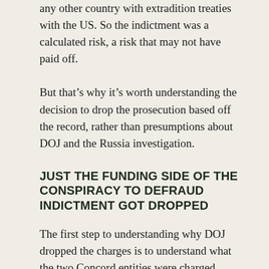any other country with extradition treaties with the US. So the indictment was a calculated risk, a risk that may not have paid off.
But that's why it's worth understanding the decision to drop the prosecution based off the record, rather than presumptions about DOJ and the Russia investigation.
JUST THE FUNDING SIDE OF THE CONSPIRACY TO DEFRAUD INDICTMENT GOT DROPPED
The first step to understanding why DOJ dropped the charges is to understand what the two Concord entities were charged with. The indictment as a whole charged eight counts: